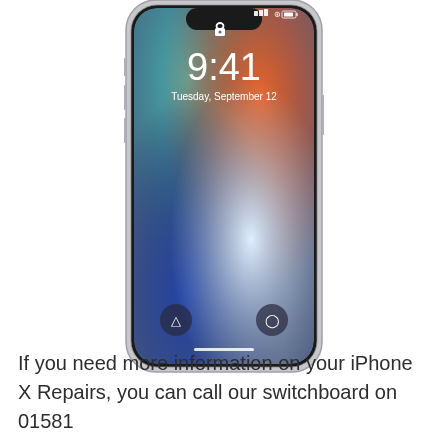[Figure (photo): iPhone X displayed with lock screen showing 9:41, Tuesday September 12, with colorful wallpaper (orange, teal, blue, white gradient) and two lock screen icons (flashlight and camera) at the bottom.]
If you need more information on your iPhone X Repairs, you can call our switchboard on 01581